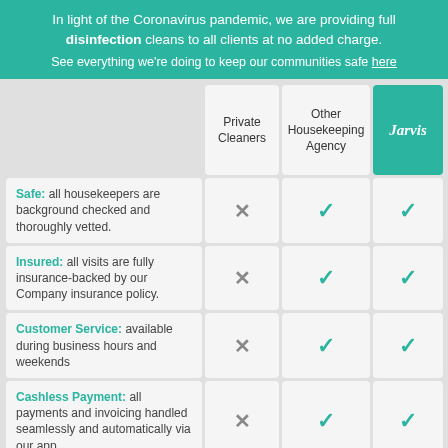In light of the Coronavirus pandemic, we are providing full disinfection cleans to all clients at no added charge. See everything we're doing to keep our communities safe here
|  | Private Cleaners | Other Housekeeping Agency | Jarvis |
| --- | --- | --- | --- |
| Safe: all housekeepers are background checked and thoroughly vetted. | ✗ | ✓ | ✓ |
| Insured: all visits are fully insurance-backed by our Company insurance policy. | ✗ | ✓ | ✓ |
| Customer Service: available during business hours and weekends | ✗ | ✓ | ✓ |
| Cashless Payment: all payments and invoicing handled seamlessly and automatically via our app. | ✗ | ✓ | ✓ |
| Quality check: other client reviews always used to measure | ✗ | ✓ | ✓ |